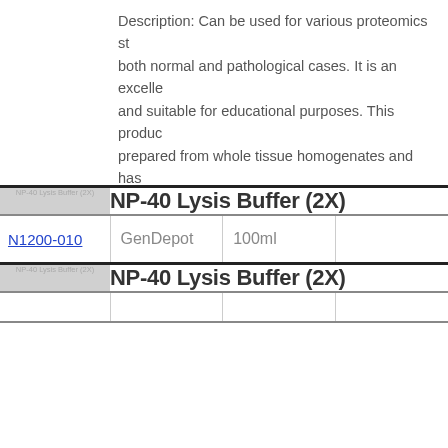Description: Can be used for various proteomics studies in both normal and pathological cases. It is an excellent tool and suitable for educational purposes. This product is prepared from whole tissue homogenates and has passed SDS-PAGE quality control analysis. The protein is stored in buffer with protease inhibitor cocktail fo prevent d...
|  | NP-40 Lysis Buffer (2X) |  |  |
| --- | --- | --- | --- |
| NP-40 Lysis Buffer (2X) [image] | NP-40 Lysis Buffer (2X) |  |  |
| N1200-010 | GenDepot | 100ml |  |
| NP-40 Lysis Buffer (2X) [image] | NP-40 Lysis Buffer (2X) |  |  |